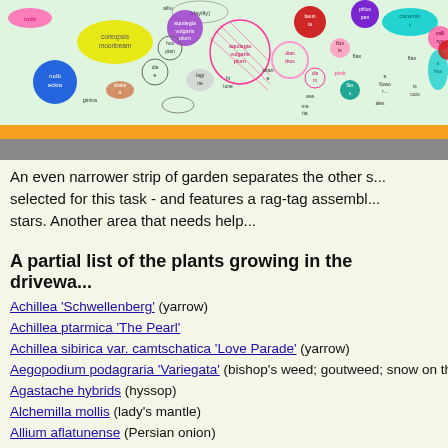[Figure (illustration): Colorful bubble/blob diagram showing various garden plants labeled with names, on a light green background with an orange ruler bar and gray bar below.]
An even narrower strip of garden separates the other s... selected for this task - and features a rag-tag assembl... stars. Another area that needs help...
A partial list of the plants growing in the drivewa...
Achillea 'Schwellenberg' (yarrow)
Achillea ptarmica 'The Pearl'
Achillea sibirica var. camtschatica 'Love Parade' (yarrow)
Aegopodium podagraria 'Variegata' (bishop's weed; goutweed; snow on the...)
Agastache hybrids (hyssop)
Alchemilla mollis (lady's mantle)
Allium aflatunense (Persian onion)
Allium cristophii (star of Persia)
Amaranthus hybrids (amaranth)
Amsonia 'Blue Ice' (blue star)
Amsonia hubrichtii (narrow-leaf blue star)
Amsonia rigida (stiff blue star)
Antennaria dioica (pussy-toes)
Antennaria plantaginifolia (pussytoes; lady's tobacco)
Anthericum ramosum (branched St Bernard's lily)
Aquilegia bertolonii (Bertoloni's columbine)
Aquilegia vulgaris (columbine)